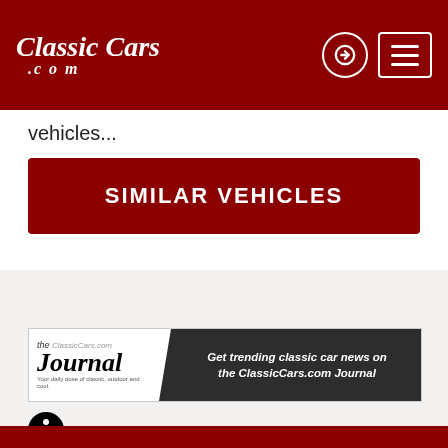ClassicCars.com
vehicles...
SIMILAR VEHICLES
[Figure (infographic): ClassicCars.com Journal advertisement banner: left side shows the Journal logo on white background, right side dark panel with text 'Get trending classic car news on the ClassicCars.com Journal' and a phone image]
[Figure (illustration): Accessibility icon - circular icon with wheelchair symbol]